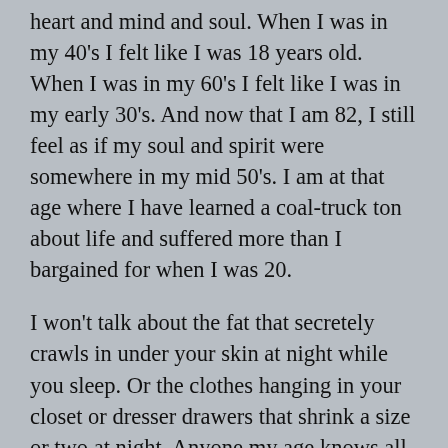heart and mind and soul. When I was in my 40's I felt like I was 18 years old. When I was in my 60's I felt like I was in my early 30's. And now that I am 82, I still feel as if my soul and spirit were somewhere in my mid 50's. I am at that age where I have learned a coal-truck ton about life and suffered more than I bargained for when I was 20.
I won't talk about the fat that secretely crawls in under your skin at night while you sleep. Or the clothes hanging in your closet or dresser drawers that shrink a size or two at night. Anyone my age knows all about those things unless, of course, they are those skinny, perfectly proportioned, robots that are